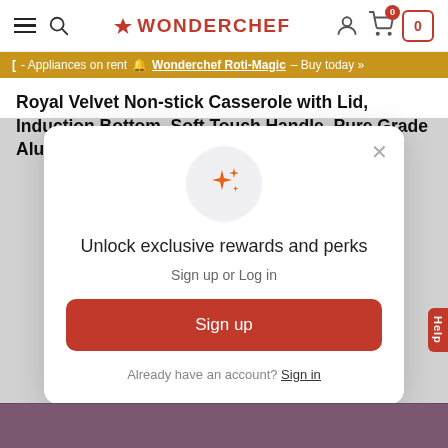WONDERCHEF navigation bar with hamburger menu, search icon, logo, user icon, cart icon (0)
[ - Appliances on rent 🔔 Wonderchef Roti-Magic – Buy today »
Royal Velvet Non-stick Casserole with Lid, Induction Bottom, Soft Touch Handle, Pure Grade Aluminium, PFOA/Heavy Metals Free-
[Figure (screenshot): Popup modal with sparkle emoji icon, heading 'Unlock exclusive rewards and perks', subtext 'Sign up or Log in', a red 'Sign up' button, and 'Already have an account? Sign in' link. Close (×) button in top right.]